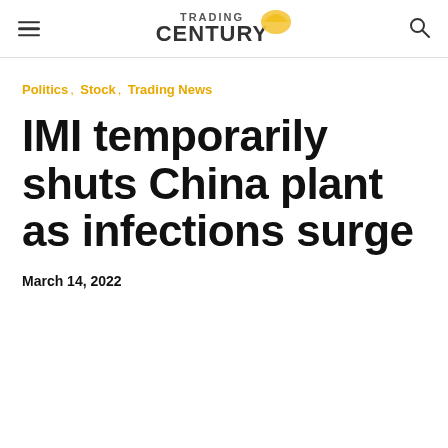TRADING CENTURY
Politics, Stock, Trading News
IMI temporarily shuts China plant as infections surge
March 14, 2022